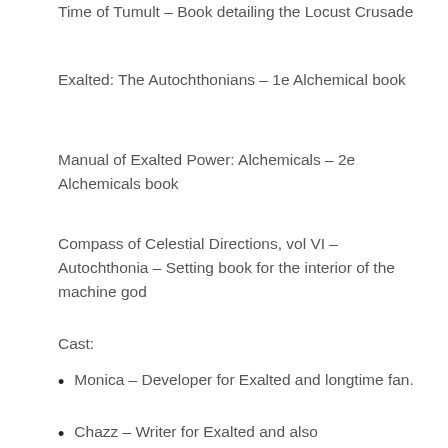Time of Tumult – Book detailing the Locust Crusade
Exalted: The Autochthonians – 1e Alchemical book
Manual of Exalted Power: Alchemicals – 2e Alchemicals book
Compass of Celestial Directions, vol VI – Autochthonia – Setting book for the interior of the machine god
Cast:
Monica – Developer for Exalted and longtime fan.
Chazz – Writer for Exalted and also